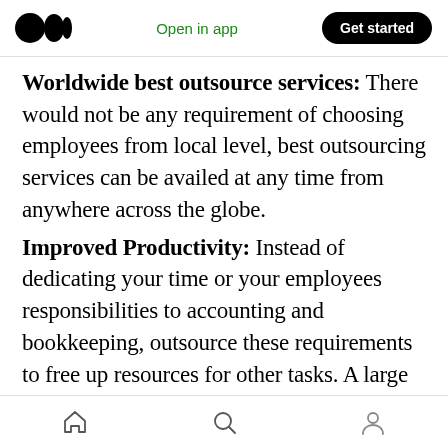Medium logo | Open in app | Get started
Worldwide best outsource services: There would not be any requirement of choosing employees from local level, best outsourcing services can be availed at any time from anywhere across the globe.
Improved Productivity: Instead of dedicating your time or your employees responsibilities to accounting and bookkeeping, outsource these requirements to free up resources for other tasks. A large amount of paperwork is required to keep up with accounting needs, leaving many companies buried in invoices and tax forms. Let
Home | Search | Profile